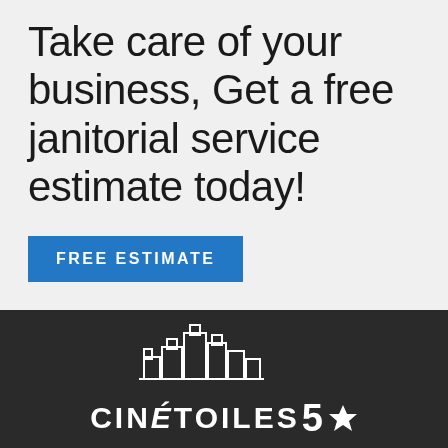Take care of your business, Get a free janitorial service estimate today!
FREE ESTIMATE
[Figure (logo): Cinq Étoiles company logo with city skyline illustration and star, white on dark background, text reads CINÉTOILES 5 star]